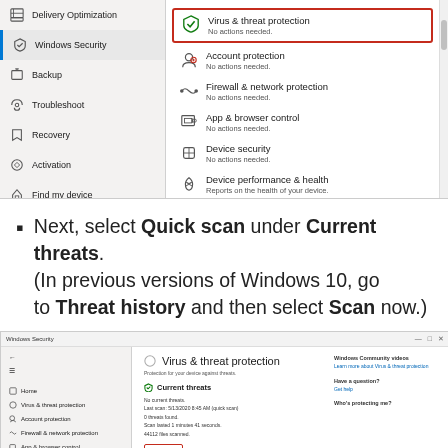[Figure (screenshot): Windows Security settings panel showing left navigation with Delivery Optimization, Windows Security, Backup, Troubleshoot, Recovery, Activation, Find my device, For developers. Right panel shows: Virus & threat protection (highlighted in red border, No actions needed), Account protection (No actions needed), Firewall & network protection (No actions needed), App & browser control (No actions needed), Device security (No actions needed), Device performance & health (Reports on the health of your device), and partially visible Family options.]
Next, select Quick scan under Current threats. (In previous versions of Windows 10, go to Threat history and then select Scan now.)
[Figure (screenshot): Windows Security app window showing Virus & threat protection page. Left sidebar shows: Home, Virus & threat protection, Account protection, Firewall & network protection, App & browser control. Main area shows: Virus & threat protection heading, Protection for your device against threats subtitle, Current threats section with: No current threats, Last scan: 5/13/2020 8:45 AM (quick scan), 0 threats found, Scan lasted 1 minutes 41 seconds, 44112 files scanned, and a Quick scan button outlined in red. Right sidebar shows: Windows Community videos, Learn more about Virus & threat protection link, Have a question? Get help link, Who's protecting me? partial text.]